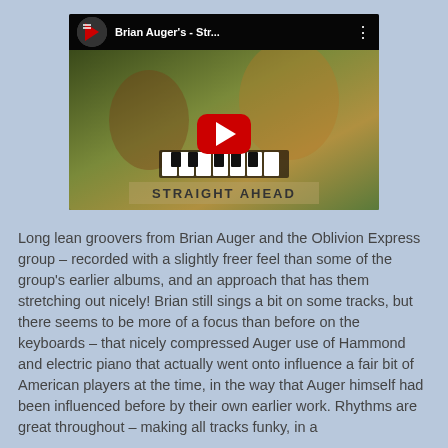[Figure (screenshot): YouTube video thumbnail showing Brian Auger's - Str... (Straight Ahead album cover) with a red play button in the center. The video bar at the top shows a channel avatar and the truncated title 'Brian Auger's - Str...' with a three-dot menu.]
Long lean groovers from Brian Auger and the Oblivion Express group – recorded with a slightly freer feel than some of the group's earlier albums, and an approach that has them stretching out nicely! Brian still sings a bit on some tracks, but there seems to be more of a focus than before on the keyboards – that nicely compressed Auger use of Hammond and electric piano that actually went onto influence a fair bit of American players at the time, in the way that Auger himself had been influenced before by their own earlier work. Rhythms are great throughout – making all tracks funky, in a